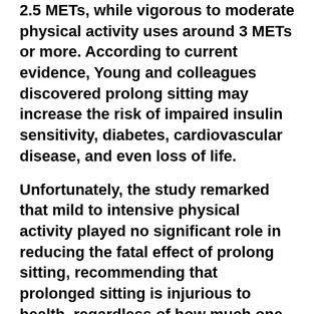2.5 METs, while vigorous to moderate physical activity uses around 3 METs or more. According to current evidence, Young and colleagues discovered prolong sitting may increase the risk of impaired insulin sensitivity, diabetes, cardiovascular disease, and even loss of life.
Unfortunately, the study remarked that mild to intensive physical activity played no significant role in reducing the fatal effect of prolong sitting, recommending that prolonged sitting is injurious to health, regardless of how much one exercises. Young opines that, at the moment, they could not define what constitute prolong sitting; however, their advice is to reduce the amount of time spent sitting and increase the amount of time spent active. They conclude that there is a lot of research that must be done by